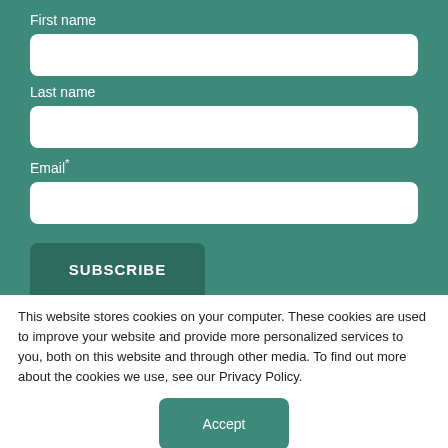First name
[Figure (other): Empty text input field for First name]
Last name
[Figure (other): Empty text input field for Last name]
Email*
[Figure (other): Empty text input field for Email]
[Figure (other): SUBSCRIBE button]
This website stores cookies on your computer. These cookies are used to improve your website and provide more personalized services to you, both on this website and through other media. To find out more about the cookies we use, see our Privacy Policy.
[Figure (other): Accept button]